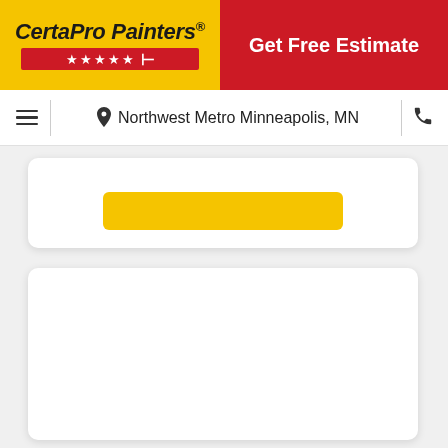[Figure (logo): CertaPro Painters logo on yellow background with red stars bar]
Get Free Estimate
Northwest Metro Minneapolis, MN